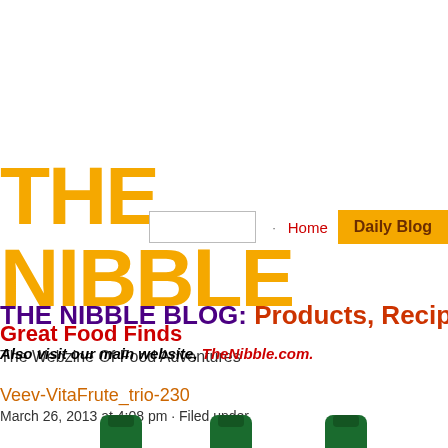THE NIBBLE
Great Food Finds
The Webzine Of Food Adventures
THE NIBBLE BLOG: Products, Recipes & Trends
Also visit our main website, TheNibble.com.
Veev-VitaFrute_trio-230
March 26, 2013 at 4:08 pm · Filed under
[Figure (photo): Three green bottles of VeeV VitaFrute partially visible at bottom of page]